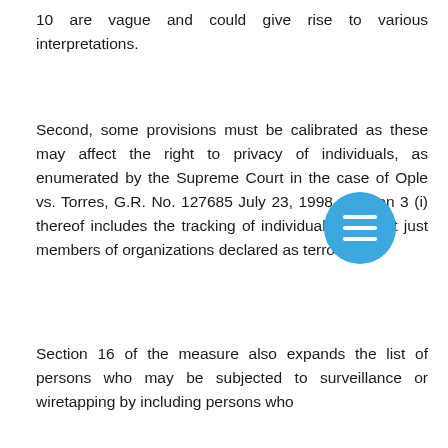10 are vague and could give rise to various interpretations.
Second, some provisions must be calibrated as these may affect the right to privacy of individuals, as enumerated by the Supreme Court in the case of Ople vs. Torres, G.R. No. 127685 July 23, 1998. Section 3 (i) thereof includes the tracking of individuals, and not just members of organizations declared as terrorist.
Section 16 of the measure also expands the list of persons who may be subjected to surveillance or wiretapping by including persons who